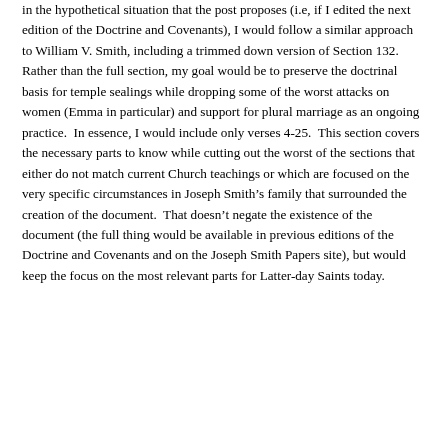in the hypothetical situation that the post proposes (i.e, if I edited the next edition of the Doctrine and Covenants), I would follow a similar approach to William V. Smith, including a trimmed down version of Section 132.  Rather than the full section, my goal would be to preserve the doctrinal basis for temple sealings while dropping some of the worst attacks on women (Emma in particular) and support for plural marriage as an ongoing practice.  In essence, I would include only verses 4-25.  This section covers the necessary parts to know while cutting out the worst of the sections that either do not match current Church teachings or which are focused on the very specific circumstances in Joseph Smith’s family that surrounded the creation of the document.  That doesn’t negate the existence of the document (the full thing would be available in previous editions of the Doctrine and Covenants and on the Joseph Smith Papers site), but would keep the focus on the most relevant parts for Latter-day Saints today.